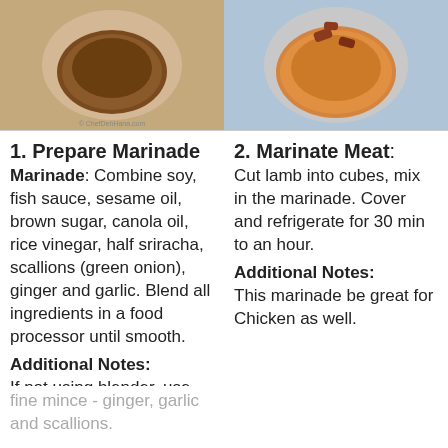[Figure (photo): Two food photos side by side: left shows a bowl of brown marinade sauce, right shows a bowl of orange marinade with meat pieces]
1. Prepare Marinade
Combine soy, fish sauce, sesame oil, brown sugar, canola oil, rice vinegar, half sriracha, scallions (green onion), ginger and garlic. Blend all ingredients in a food processor until smooth.
Additional Notes:
If not using blender, use food processor or very
fine mince - ginger, garlic and scallions.
2. Marinate Meat:
Cut lamb into cubes, mix in the marinade. Cover and refrigerate for 30 min to an hour.
Additional Notes:
This marinade be great for Chicken as well.